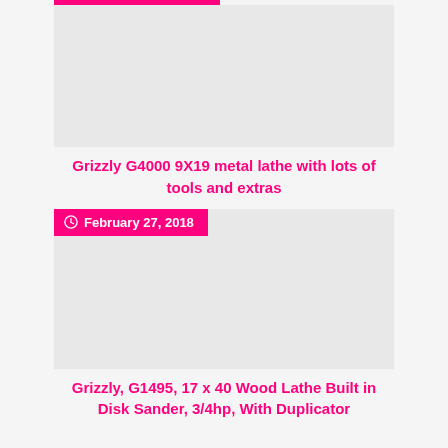[Figure (photo): Product listing image placeholder for Grizzly G4000 metal lathe, light gray rectangle]
Grizzly G4000 9X19 metal lathe with lots of tools and extras
[Figure (photo): Product listing image placeholder for Grizzly G1495 wood lathe, light gray rectangle with date badge 'February 27, 2018']
Grizzly, G1495, 17 x 40 Wood Lathe Built in Disk Sander, 3/4hp, With Duplicator